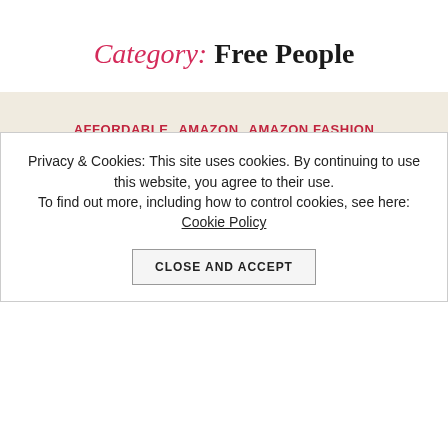Category: Free People
AFFORDABLE  AMAZON  AMAZON FASHION  ANTHROPOLOGIE  ART  ART BLOG  ASOS  AUTUMN  BACKPACK  BACKPACKS  BAGS  BIRKENSTOCKS  BLOG  BLOGGER  BOHO  BOHO CHIC  BOHO STYLE  BOOK LIST  BOOK REVIEWS  BOOKS  BOOTIES  BOOTS  BOYFRIEND JEANS  BRANDNAME
Privacy & Cookies: This site uses cookies. By continuing to use this website, you agree to their use.
To find out more, including how to control cookies, see here: Cookie Policy
CLOSE AND ACCEPT